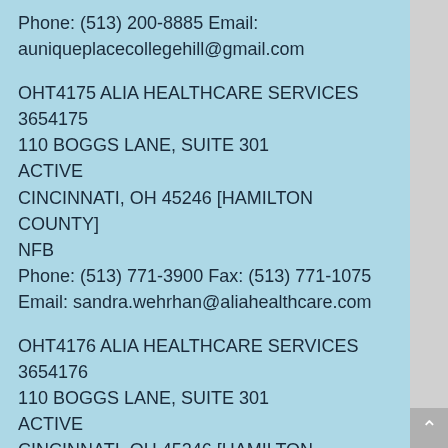Phone: (513) 200-8885 Email: auniqueplacecollegehill@gmail.com
OHT4175 ALIA HEALTHCARE SERVICES
3654175
110 BOGGS LANE, SUITE 301
ACTIVE
CINCINNATI, OH 45246 [HAMILTON COUNTY]
NFB
Phone: (513) 771-3900 Fax: (513) 771-1075
Email: sandra.wehrhan@aliahealthcare.com
OHT4176 ALIA HEALTHCARE SERVICES
3654176
110 BOGGS LANE, SUITE 301
ACTIVE
CINCINNATI, OH 45246 [HAMILTON COUNTY]